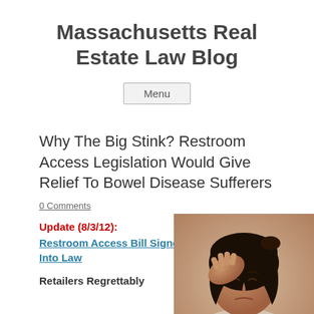Massachusetts Real Estate Law Blog
Menu
Why The Big Stink? Restroom Access Legislation Would Give Relief To Bowel Disease Sufferers
0 Comments
Update (8/3/12):
Restroom Access Bill Signed Into Law
[Figure (photo): Woman with head in hand looking distressed]
Retailers Regrettably